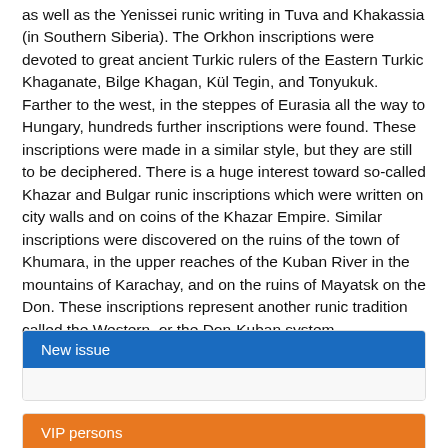as well as the Yenissei runic writing in Tuva and Khakassia (in Southern Siberia). The Orkhon inscriptions were devoted to great ancient Turkic rulers of the Eastern Turkic Khaganate, Bilge Khagan, Kül Tegin, and Tonyukuk. Farther to the west, in the steppes of Eurasia all the way to Hungary, hundreds further inscriptions were found. These inscriptions were made in a similar style, but they are still to be deciphered. There is a huge interest toward so-called Khazar and Bulgar runic inscriptions which were written on city walls and on coins of the Khazar Empire. Similar inscriptions were discovered on the ruins of the town of Khumara, in the upper reaches of the Kuban River in the mountains of Karachay, and on the ruins of Mayatsk on the Don. These inscriptions represent another runic tradition called the Western, or the Don-Kuban system.
Read more ...
New issue
VIP persons